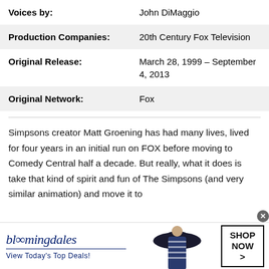| Field | Value |
| --- | --- |
| Voices by: | John DiMaggio |
| Production Companies: | 20th Century Fox Television |
| Original Release: | March 28, 1999 – September 4, 2013 |
| Original Network: | Fox |
Simpsons creator Matt Groening has had many lives, lived for four years in an initial run on FOX before moving to Comedy Central half a decade. But really, what it does is take that kind of spirit and fun of The Simpsons (and very similar animation) and move it to
[Figure (infographic): Bloomingdale's advertisement banner showing logo, tagline 'View Today's Top Deals!', woman in striped top with large dark sun hat, and 'SHOP NOW >' button]